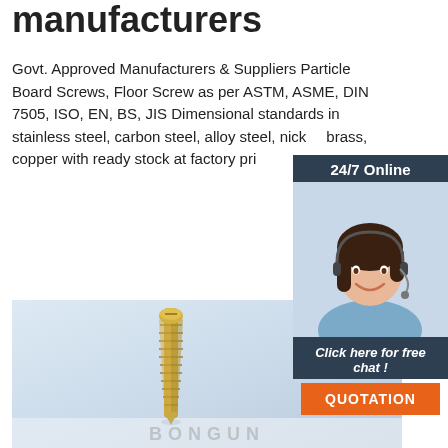manufacturers
Govt. Approved Manufacturers & Suppliers Particle Board Screws, Floor Screw as per ASTM, ASME, DIN 7505, ISO, EN, BS, JIS Dimensional standards in stainless steel, carbon steel, alloy steel, nickel, brass, copper with ready stock at factory price
[Figure (other): Orange 'Get Price' button]
[Figure (other): 24/7 Online chat widget with customer service representative photo, 'Click here for free chat!' text, and orange QUOTATION button]
[Figure (photo): Product photo of a single brass/gold-colored particle board screw standing upright against a light blue-gray background, with BONGUN watermark text]